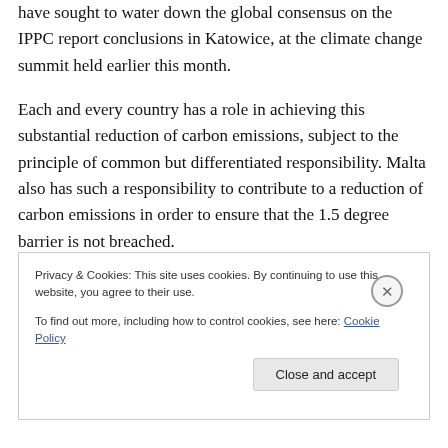have sought to water down the global consensus on the IPPC report conclusions in Katowice, at the climate change summit held earlier this month.
Each and every country has a role in achieving this substantial reduction of carbon emissions, subject to the principle of common but differentiated responsibility. Malta also has such a responsibility to contribute to a reduction of carbon emissions in order to ensure that the 1.5 degree barrier is not breached.
Privacy & Cookies: This site uses cookies. By continuing to use this website, you agree to their use.
To find out more, including how to control cookies, see here: Cookie Policy